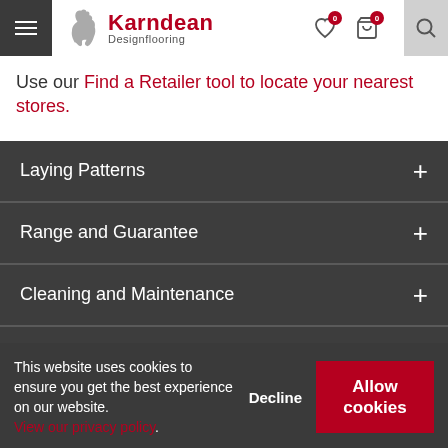Karndean Designflooring
Use our Find a Retailer tool to locate your nearest stores.
Laying Patterns
Range and Guarantee
Cleaning and Maintenance
This website uses cookies to ensure you get the best experience on our website. View our privacy policy. Decline Allow cookies